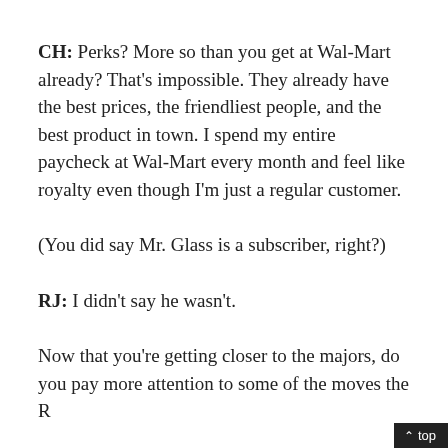CH: Perks? More so than you get at Wal-Mart already? That's impossible. They already have the best prices, the friendliest people, and the best product in town. I spend my entire paycheck at Wal-Mart every month and feel like royalty even though I'm just a regular customer.
(You did say Mr. Glass is a subscriber, right?)
RJ: I didn't say he wasn't.
Now that you're getting closer to the majors, do you pay more attention to some of the moves the R...
^ top